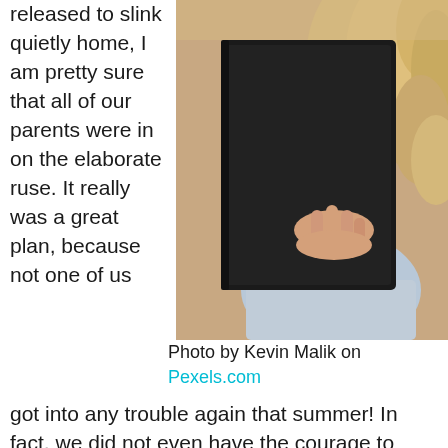released to slink quietly home, I am pretty sure that all of our parents were in on the elaborate ruse. It really was a great plan, because not one of us
[Figure (photo): Close-up photo of a child with blonde curly hair reading or holding a dark-covered book, wearing a light blue top. Taken from behind/side angle.]
Photo by Kevin Malik on Pexels.com
got into any trouble again that summer! In fact, we did not even have the courage to speak about our